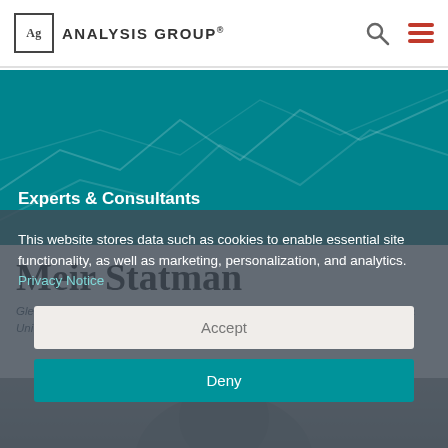ANALYSIS GROUP
[Figure (illustration): Teal banner with abstract line graph pattern in background]
Experts & Consultants
Meir Statman
Glenn Klimek Professor of Finance, Leavey School of Business at Santa Clara University
This website stores data such as cookies to enable essential site functionality, as well as marketing, personalization, and analytics. Privacy Notice
[Figure (photo): Headshot photo of Meir Statman partially visible at bottom]